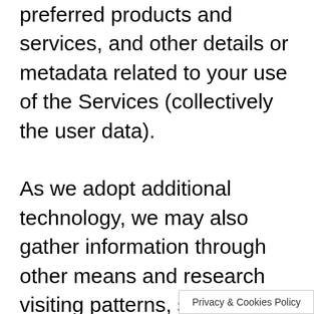preferred products and services, and other details or metadata related to your use of the Services (collectively the user data).

As we adopt additional technology, we may also gather information through other means and research visiting patterns, search history or preferences to promote the most suitable products and services as per your needs and requirements. We may use cookies to evaluate the performance of any
Privacy & Cookies Policy